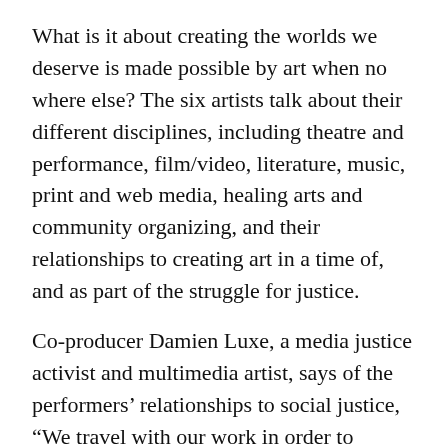What is it about creating the worlds we deserve is made possible by art when no where else? The six artists talk about their different disciplines, including theatre and performance, film/video, literature, music, print and web media, healing arts and community organizing, and their relationships to creating art in a time of, and as part of the struggle for justice.
Co-producer Damien Luxe, a media justice activist and multimedia artist, says of the performers’ relationships to social justice, “We travel with our work in order to connect each other and local folks with intra-community liberation strategies and to develop, as a complicated community, visions of a world we want to live in. To paraphrase the brilliant Toni Cade Bambara, we hope to make the revolution look irresistable – by presenting art that supports each other’s self-determination and brilliance, we start to